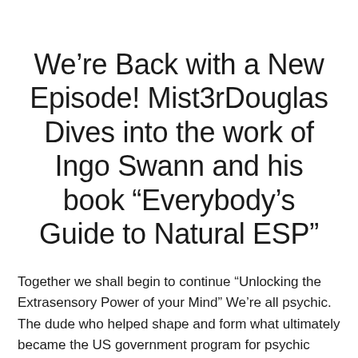We're Back with a New Episode! Mist3rDouglas Dives into the work of Ingo Swann and his book “Everybody’s Guide to Natural ESP”
Together we shall begin to continue “Unlocking the Extrasensory Power of your Mind” We’re all psychic. The dude who helped shape and form what ultimately became the US government program for psychic spies,